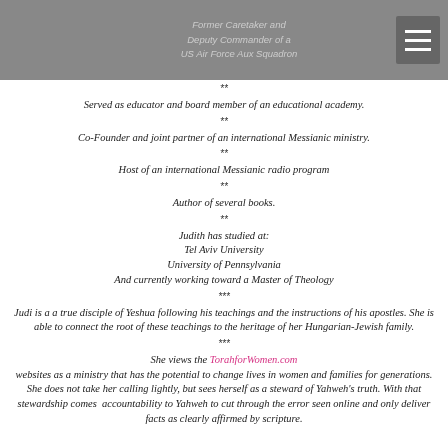Former Caretaker and
Deputy Commander of a
US Air Force Aux Squadron
**
Served as educator and board member of an educational academy.
**
Co-Founder and joint partner of an international Messianic ministry.
**
Host of an international Messianic radio program
**
Author of several books.
**
Judith has studied at:
Tel Aviv University
University of Pennsylvania
And currently working toward a Master of Theology
***
Judi is a a true disciple of Yeshua following his teachings and the instructions of his apostles. She is able to connect the root of these teachings to the heritage of her Hungarian-Jewish family.
***
She views the TorahforWomen.com websites as a ministry that has the potential to change lives in women and families for generations. She does not take her calling lightly, but sees herself as a steward of Yahweh's truth. With that stewardship comes accountability to Yahweh to cut through the error seen online and only deliver facts as clearly affirmed by scripture.